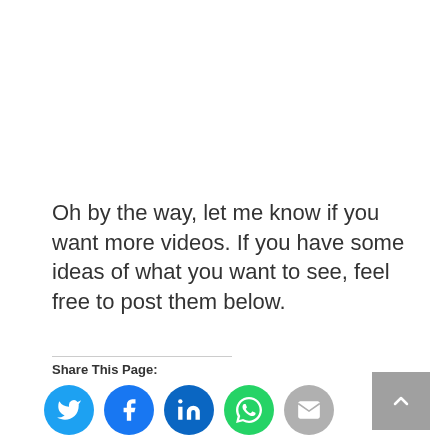Oh by the way, let me know if you want more videos. If you have some ideas of what you want to see, feel free to post them below.
Share This Page:
[Figure (infographic): Social share buttons: Twitter (blue), Facebook (dark blue), LinkedIn (blue), WhatsApp (green), Email (gray)]